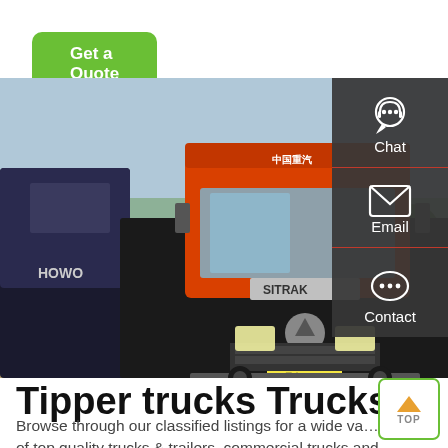Get a Quote
[Figure (photo): Several large heavy-duty tipper/dump trucks parked in a lot, with a prominent red SITRAK (Sinotruck) truck in the center foreground. Other vehicles including dark-colored trucks and red dump trucks visible in the background. Trees and blue sky visible in the distance.]
Tipper trucks Trucks for sal…
Browse through our classified listings for a wide va… of top quality trucks & trailers, commercial trucks and